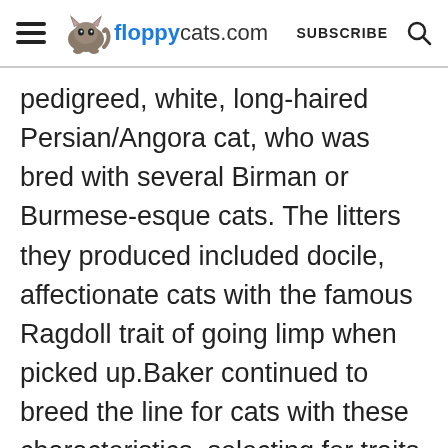floppycats.com   SUBSCRIBE
pedigreed, white, long-haired Persian/Angora cat, who was bred with several Birman or Burmese-esque cats. The litters they produced included docile, affectionate cats with the famous Ragdoll trait of going limp when picked up.Baker continued to breed the line for cats with these characteristics, selecting for traits like the tendency to relax when picked up, pointed coloration, large size, and the sweet